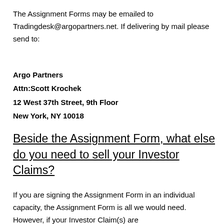The Assignment Forms may be emailed to Tradingdesk@argopartners.net. If delivering by mail please send to:
Argo Partners
Attn:Scott Krochek
12 West 37th Street, 9th Floor
New York, NY 10018
Beside the Assignment Form, what else do you need to sell your Investor Claims?
If you are signing the Assignment Form in an individual capacity, the Assignment Form is all we would need. However, if your Investor Claim(s) are